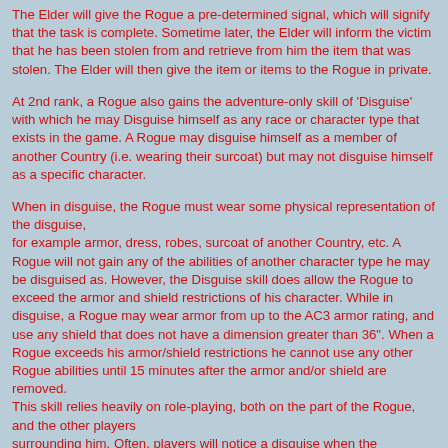The Elder will give the Rogue a pre-determined signal, which will signify that the task is complete. Sometime later, the Elder will inform the victim that he has been stolen from and retrieve from him the item that was stolen. The Elder will then give the item or items to the Rogue in private.
At 2nd rank, a Rogue also gains the adventure-only skill of 'Disguise' with which he may Disguise himself as any race or character type that exists in the game. A Rogue may disguise himself as a member of another Country (i.e. wearing their surcoat) but may not disguise himself as a specific character.
When in disguise, the Rogue must wear some physical representation of the disguise, for example armor, dress, robes, surcoat of another Country, etc. A Rogue will not gain any of the abilities of another character type he may be disguised as. However, the Disguise skill does allow the Rogue to exceed the armor and shield restrictions of his character. While in disguise, a Rogue may wear armor from up to the AC3 armor rating, and use any shield that does not have a dimension greater than 36". When a Rogue exceeds his armor/shield restrictions he cannot use any other Rogue abilities until 15 minutes after the armor and/or shield are removed. This skill relies heavily on role-playing, both on the part of the Rogue, and the other players surrounding him. Often, players will notice a disguise when the characters